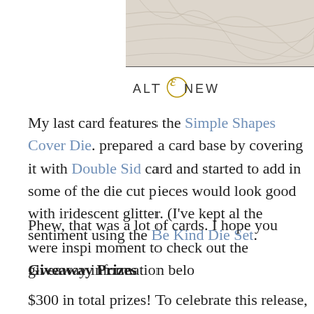[Figure (photo): Marble texture image at top right of page]
[Figure (logo): Altenew logo with stylized ampersand in gold]
My last card features the Simple Shapes Cover Die. prepared a card base by covering it with Double Sid card and started to add in some of the die cut pieces would look good with iridescent glitter. (I've kept al the sentiment using the Be Kind Die Set.
Phew, that was a lot of cards. I hope you were inspi moment to check out the giveaway information belo
Giveaway Prizes
$300 in total prizes! To celebrate this release, Altenew is giving a winners! Please leave a comment on the Altenew Card Blog and